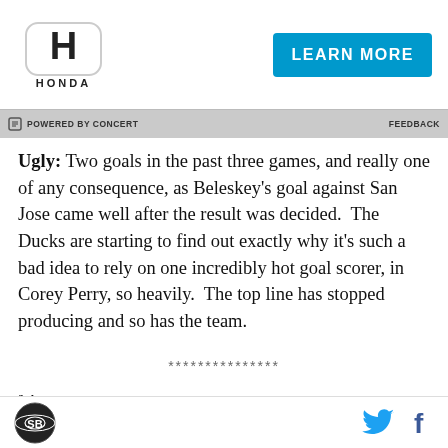[Figure (logo): Honda logo advertisement banner with LEARN MORE button]
POWERED BY CONCERT   FEEDBACK
Ugly: Two goals in the past three games, and really one of any consequence, as Beleskey’s goal against San Jose came well after the result was decided.  The Ducks are starting to find out exactly why it’s such a bad idea to rely on one incredibly hot goal scorer, in Corey Perry, so heavily.  The top line has stopped producing and so has the team.
***************
3rd Icehole: Vadimir Tarasenko - Even though he ended
site logo | Twitter icon | Facebook icon